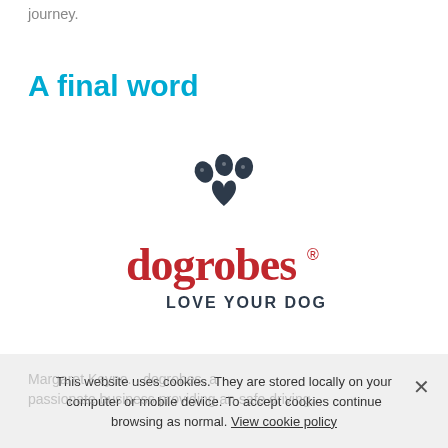journey.
A final word
[Figure (logo): Dogrobes logo: a navy blue paw print with a heart shape in the center, above the text 'dogrobes' in red with a registered trademark symbol, and 'LOVE YOUR DOG' in dark text below]
This website uses cookies. They are stored locally on your computer or mobile device. To accept cookies continue browsing as normal. View cookie policy
Margaret Keyno... dogrobes, a passionate business providing an safe driving...